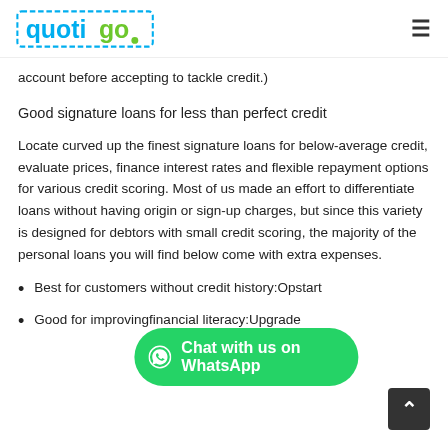quotigo
account before accepting to tackle credit.)
Good signature loans for less than perfect credit
Locate curved up the finest signature loans for below-average credit, evaluate prices, finance interest rates and flexible repayment options for various credit scoring. Most of us made an effort to differentiate loans without having origin or sign-up charges, but since this variety is designed for debtors with small credit scoring, the majority of the personal loans you will find below come with extra expenses.
Best for customers without credit history:Opstart
Good for improvingfinancial literacy:Upgrade